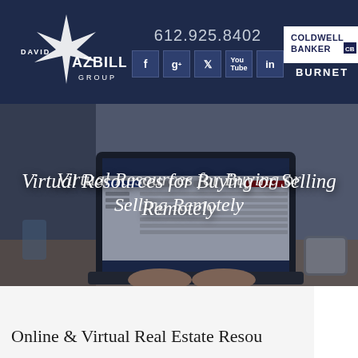[Figure (logo): David Azbill Group logo - stylized star/compass shape with text DAVID AZBILL GROUP on dark navy background]
612.925.8402
[Figure (logo): Coldwell Banker Burnet logo badge with text BURNET below]
[Figure (screenshot): Hero image showing a laptop computer displaying a real estate website, with hands typing, on a wooden desk. Title overlay reads: Virtual Resources for Buying or Selling Remotely]
Virtual Resources for Buying or Selling Remotely
Online & Virtual Real Estate Resou